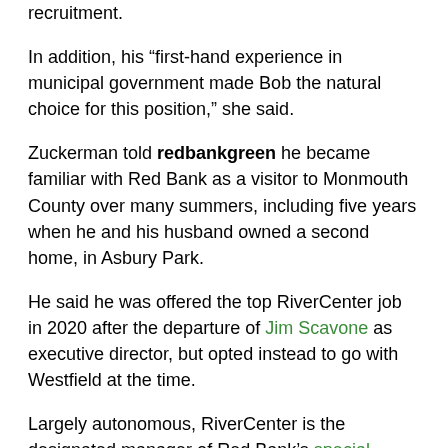recruitment.
In addition, his “first-hand experience in municipal government made Bob the natural choice for this position,” she said.
Zuckerman told redbankgreen he became familiar with Red Bank as a visitor to Monmouth County over many summers, including five years when he and his husband owned a second home, in Asbury Park.
He said he was offered the top RiverCenter job in 2020 after the departure of Jim Scavone as executive director, but opted instead to go with Westfield at the time.
Largely autonomous, RiverCenter is the designated manager of Red Bank’s special improvement district, charged with cultivating economic activity through business recruitment and retention, tourism, community events and more. The nonprofit operates on a budget of $$579,970, derived from a tax on commercial properties in the district and event surpluses.
Zuckerman said he’s not yet versed in the particular challenges faced by Red Bank’s business community, “but whatever they are, it’s probably something I’ve dealt with in my years doing this kind of work.”